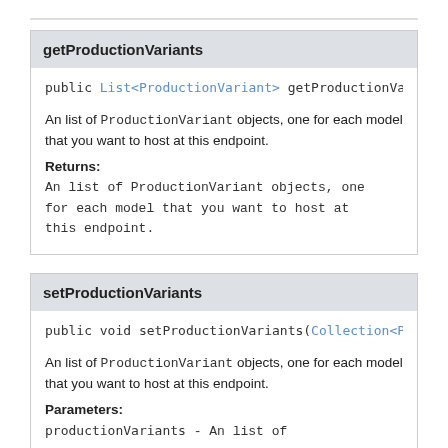getProductionVariants
public List<ProductionVariant> getProductionVaria…
An list of ProductionVariant objects, one for each model that you want to host at this endpoint.
Returns:
An list of ProductionVariant objects, one
for each model that you want to host at
this endpoint.
setProductionVariants
public void setProductionVariants(Collection<Proc…
An list of ProductionVariant objects, one for each model that you want to host at this endpoint.
Parameters:
productionVariants - An list of